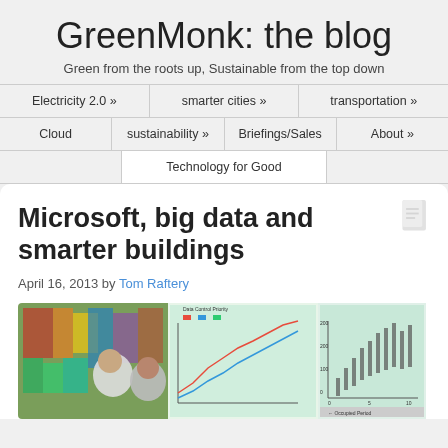GreenMonk: the blog
Green from the roots up, Sustainable from the top down
Electricity 2.0 » | smarter cities » | transportation » | Cloud | sustainability » | Briefings/Sales | About » | Technology for Good
Microsoft, big data and smarter buildings
April 16, 2013 by Tom Raftery
[Figure (photo): Two people examining data visualizations on large display screens showing heat maps and charts related to building energy data]